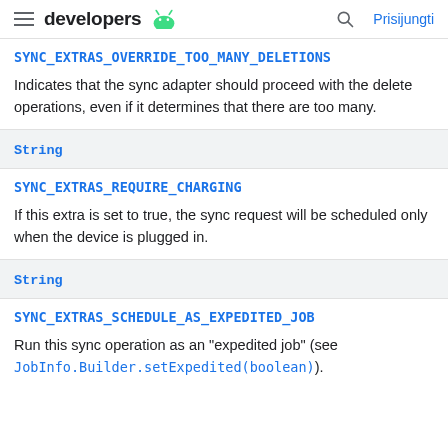developers (Android logo) | search | Prisijungti
SYNC_EXTRAS_OVERRIDE_TOO_MANY_DELETIONS
Indicates that the sync adapter should proceed with the delete operations, even if it determines that there are too many.
String
SYNC_EXTRAS_REQUIRE_CHARGING
If this extra is set to true, the sync request will be scheduled only when the device is plugged in.
String
SYNC_EXTRAS_SCHEDULE_AS_EXPEDITED_JOB
Run this sync operation as an "expedited job" (see JobInfo.Builder.setExpedited(boolean)).